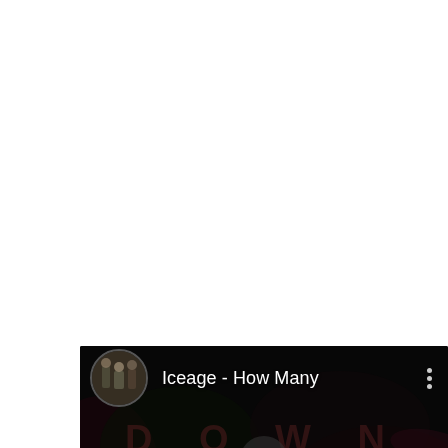[Figure (screenshot): A video player card with dark background showing a blurred dark floral/plant image. Top bar shows a circular avatar thumbnail of a band, the text 'Iceage - How Many', and a three-dot menu icon. A play button triangle is visible in the center. Faint large watermark text 'DOWN' and partial 'NA' visible behind the play button.]